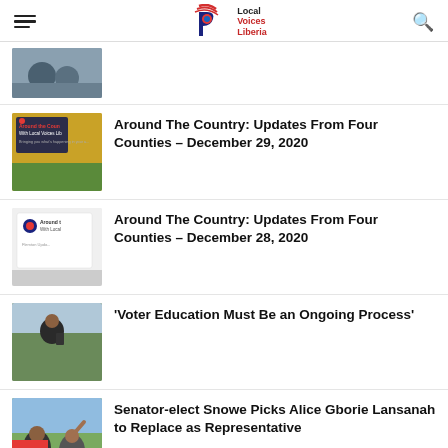Local Voices Liberia
[Figure (photo): Thumbnail image of people in an outdoor setting]
[Figure (photo): Thumbnail showing Around the Country With Local Voices Liberia graphic]
Around The Country: Updates From Four Counties – December 29, 2020
[Figure (photo): Thumbnail showing Around the Country With Local Voices Liberia graphic for December 28]
Around The Country: Updates From Four Counties – December 28, 2020
[Figure (photo): Photo of a woman holding a device outdoors]
'Voter Education Must Be an Ongoing Process'
[Figure (photo): Photo of people at an outdoor event, person raising arm]
Senator-elect Snowe Picks Alice Gborie Lansanah to Replace as Representative